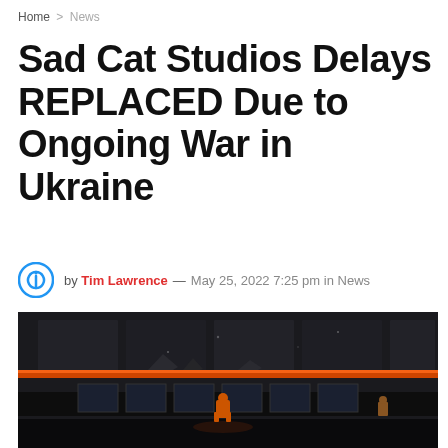Home > News
Sad Cat Studios Delays REPLACED Due to Ongoing War in Ukraine
by Tim Lawrence — May 25, 2022 7:25 pm in News
[Figure (screenshot): Dark sci-fi side-scrolling game screenshot showing a character in an orange suit standing in a grim industrial environment with damaged walls and orange lighting accents]